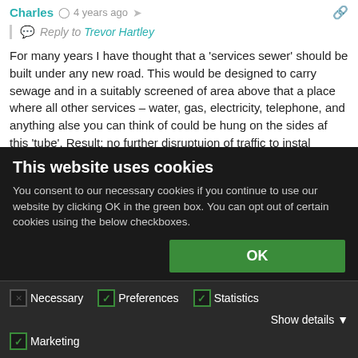Charles · 4 years ago
Reply to Trevor Hartley
For many years I have thought that a 'services sewer' should be built under any new road. This would be designed to carry sewage and in a suitably screened of area above that a place where all other services – water, gas, electricity, telephone, and anything alse you can think of could be hung on the sides af this 'tube'. Result: no further disruptuion of traffic to instal newfangled ways of doing things!
+ 2 — Reply
This website uses cookies
You consent to our necessary cookies if you continue to use our website by clicking OK in the green box. You can opt out of certain cookies using the below checkboxes.
OK
Necessary · Preferences · Statistics · Marketing · Show details